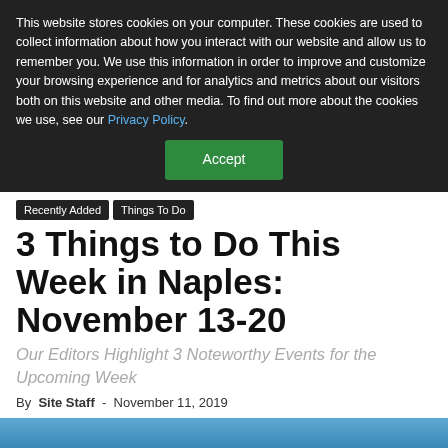This website stores cookies on your computer. These cookies are used to collect information about how you interact with our website and allow us to remember you. We use this information in order to improve and customize your browsing experience and for analytics and metrics about our visitors both on this website and other media. To find out more about the cookies we use, see our Privacy Policy.
Accept
Recently Added   Things To Do
3 Things to Do This Week in Naples: November 13-20
Our Editors Highlight 3 Noteworthy Events for the Upcoming Week
By Site Staff - November 11, 2019
Facebook  Twitter  Pinterest  +
[Figure (photo): Bottom partial image strip, blue/teal toned]